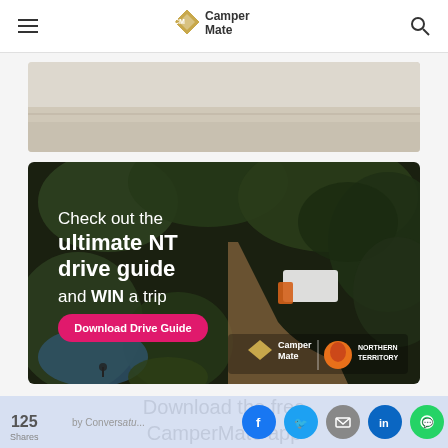CamperMate
[Figure (photo): Light-colored banner image area at top, appears to be a landscape/outdoors scene with muted tones]
[Figure (photo): Aerial drone photo of a campsite amid dense green trees with a white caravan and orange truck visible on a dirt track. Overlaid text reads: Check out the ultimate NT drive guide and WIN a trip. Pink button: Download Drive Guide. CamperMate and Northern Territory logos at bottom right.]
Download the free CamperMate app
125 Shares | Facebook | Twitter | Email | LinkedIn | WhatsApp